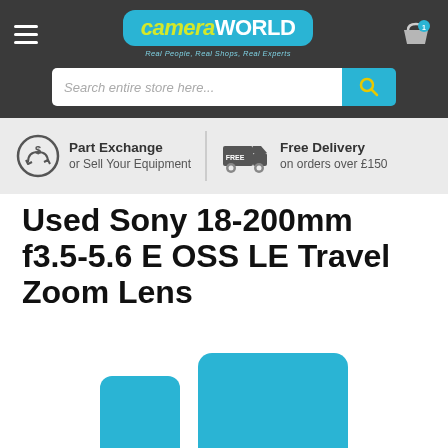cameraWORLD — Real People, Real Shops, Real Experts
[Figure (screenshot): CameraWorld logo with teal rounded rectangle, yellow italic 'camera' and white uppercase 'WORLD', tagline 'Real People, Real Shops, Real Experts']
[Figure (screenshot): Search bar with placeholder 'Search entire store here...' and teal search button with magnifying glass icon]
Part Exchange or Sell Your Equipment
Free Delivery on orders over £150
Used Sony 18-200mm f3.5-5.6 E OSS LE Travel Zoom Lens
[Figure (photo): Partial view of product image showing teal/cyan colored camera lens packaging at the bottom of the page]